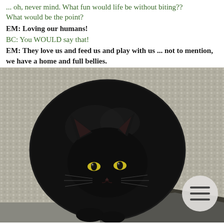... oh, never mind. What fun would life be without biting?? What would be the point?
EM: Loving our humans!
BC: You WOULD say that!
EM: They love us and feed us and play with us ... not to mention, we have a home and full bellies.
[Figure (photo): A round black cat sitting on a textured grey carpet, looking directly at the camera with yellow-green eyes. A circular menu button overlay is visible in the lower right.]